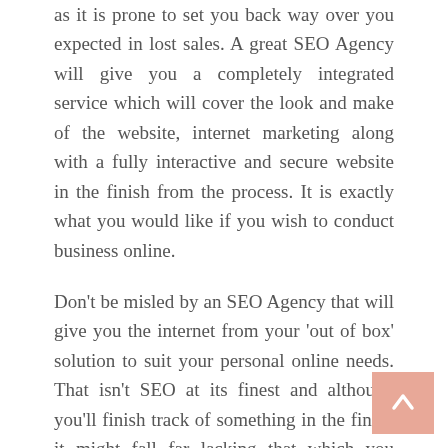as it is prone to set you back way over you expected in lost sales. A great SEO Agency will give you a completely integrated service which will cover the look and make of the website, internet marketing along with a fully interactive and secure website in the finish from the process. It is exactly what you would like if you wish to conduct business online.
Don't be misled by an SEO Agency that will give you the internet from your 'out of box' solution to suit your personal online needs. That isn't SEO at its finest and although you'll finish track of something in the finish it might fall far lacking that which you really need. An SEO Agency needs to help you out, increase your relationship over serious amounts of understand your requirements and build around them. Like a entrepreneur you would not expect anyone to are available in to